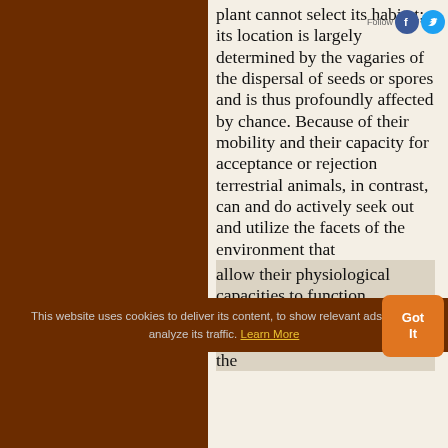plant cannot select its habitat; its location is largely determined by the vagaries of the dispersal of seeds or spores and is thus profoundly affected by chance. Because of their mobility and their capacity for acceptance or rejection terrestrial animals, in contrast, can and do actively seek out and utilize the facets of the environment that allow their physiological capacities to function adequately. This means that an animal by its behavior can fit the
[Figure (other): Social media follow bar with Facebook and Twitter circular icons and 'Follow' label]
This website uses cookies to deliver its content, to show relevant ads and to analyze its traffic. Learn More Got It